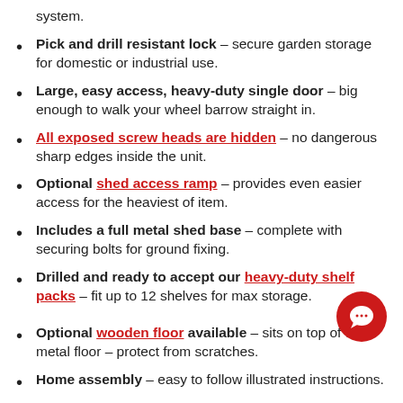system.
Pick and drill resistant lock – secure garden storage for domestic or industrial use.
Large, easy access, heavy-duty single door – big enough to walk your wheel barrow straight in.
All exposed screw heads are hidden – no dangerous sharp edges inside the unit.
Optional shed access ramp – provides even easier access for the heaviest of item.
Includes a full metal shed base – complete with securing bolts for ground fixing.
Drilled and ready to accept our heavy-duty shelf packs – fit up to 12 shelves for max storage.
Optional wooden floor available – sits on top of the metal floor – protect from scratches.
Home assembly – easy to follow illustrated instructions.
A full assembly service option is available – select